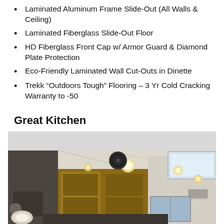Laminated Aluminum Frame Slide-Out (All Walls & Ceiling)
Laminated Fiberglass Slide-Out Floor
HD Fiberglass Front Cap w/ Armor Guard & Diamond Plate Protection
Eco-Friendly Laminated Wall Cut-Outs in Dinette
Trekk “Outdoors Tough” Flooring – 3 Yr Cold Cracking Warranty to -50
Great Kitchen
[Figure (photo): Interior photo of an RV kitchen showing wood cabinets, ceiling lights, ceiling panel, speaker, and skylight window]